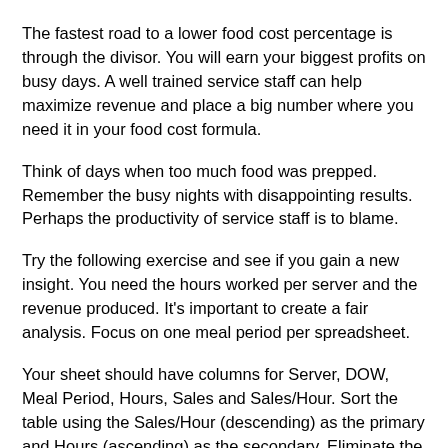The fastest road to a lower food cost percentage is through the divisor. You will earn your biggest profits on busy days. A well trained service staff can help maximize revenue and place a big number where you need it in your food cost formula.
Think of days when too much food was prepped. Remember the busy nights with disappointing results. Perhaps the productivity of service staff is to blame.
Try the following exercise and see if you gain a new insight. You need the hours worked per server and the revenue produced. It's important to create a fair analysis. Focus on one meal period per spreadsheet.
Your sheet should have columns for Server, DOW, Meal Period, Hours, Sales and Sales/Hour. Sort the table using the Sales/Hour (descending) as the primary and Hours (ascending) as the secondary. Eliminate the best and worst server. Find the middle (median) server in terms of productivity. Now examine the report for patterns. Are you